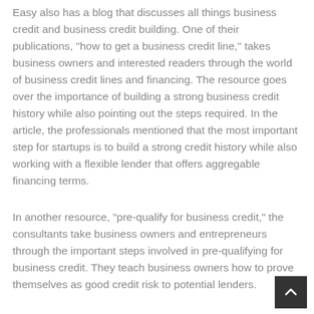Easy also has a blog that discusses all things business credit and business credit building. One of their publications, "how to get a business credit line," takes business owners and interested readers through the world of business credit lines and financing. The resource goes over the importance of building a strong business credit history while also pointing out the steps required. In the article, the professionals mentioned that the most important step for startups is to build a strong credit history while also working with a flexible lender that offers aggregable financing terms.
In another resource, "pre-qualify for business credit," the consultants take business owners and entrepreneurs through the important steps involved in pre-qualifying for business credit. They teach business owners how to prove themselves as good credit risk to potential lenders.